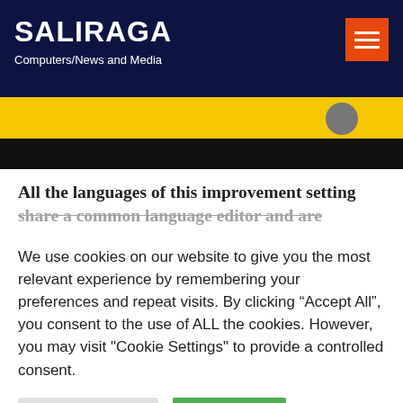SALIRAGA
Computers/News and Media
[Figure (screenshot): Partial website banner image with yellow and black horizontal bands]
All the languages of this improvement setting share a common language editor and are
We use cookies on our website to give you the most relevant experience by remembering your preferences and repeat visits. By clicking “Accept All”, you consent to the use of ALL the cookies. However, you may visit "Cookie Settings" to provide a controlled consent.
Cookie Settings | Accept All